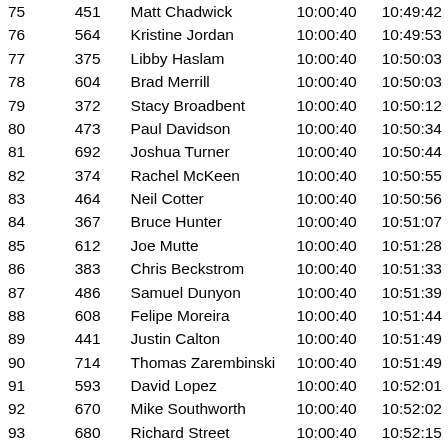| 75 | 451 | Matt Chadwick | 10:00:40 | 10:49:42 |
| 76 | 564 | Kristine Jordan | 10:00:40 | 10:49:53 |
| 77 | 375 | Libby Haslam | 10:00:40 | 10:50:03 |
| 78 | 604 | Brad Merrill | 10:00:40 | 10:50:03 |
| 79 | 372 | Stacy Broadbent | 10:00:40 | 10:50:12 |
| 80 | 473 | Paul Davidson | 10:00:40 | 10:50:34 |
| 81 | 692 | Joshua Turner | 10:00:40 | 10:50:44 |
| 82 | 374 | Rachel McKeen | 10:00:40 | 10:50:55 |
| 83 | 464 | Neil Cotter | 10:00:40 | 10:50:56 |
| 84 | 367 | Bruce Hunter | 10:00:40 | 10:51:07 |
| 85 | 612 | Joe Mutte | 10:00:40 | 10:51:28 |
| 86 | 383 | Chris Beckstrom | 10:00:40 | 10:51:33 |
| 87 | 486 | Samuel Dunyon | 10:00:40 | 10:51:39 |
| 88 | 608 | Felipe Moreira | 10:00:40 | 10:51:44 |
| 89 | 441 | Justin Calton | 10:00:40 | 10:51:49 |
| 90 | 714 | Thomas Zarembinski | 10:00:40 | 10:51:49 |
| 91 | 593 | David Lopez | 10:00:40 | 10:52:01 |
| 92 | 670 | Mike Southworth | 10:00:40 | 10:52:02 |
| 93 | 680 | Richard Street | 10:00:40 | 10:52:15 |
| 94 | 641 | Travis Riggs | 10:00:40 | 10:52:16 |
| 95 | 551 | Edger Jacobsen | 10:00:40 | 10:52:24 |
| 96 | 373 | Francois Lariviere | 10:00:40 | 10:52:25 |
| 97 | 541 | Alex Hoppus | 10:00:40 | 10:52:31 |